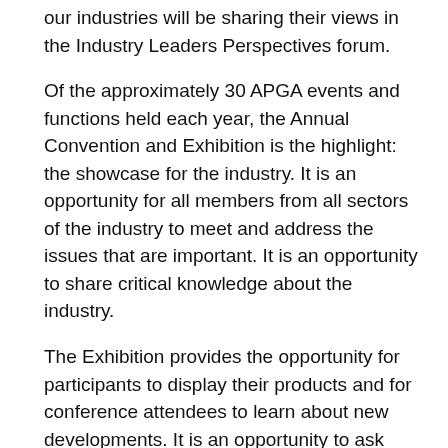our industries will be sharing their views in the Industry Leaders Perspectives forum.
Of the approximately 30 APGA events and functions held each year, the Annual Convention and Exhibition is the highlight: the showcase for the industry. It is an opportunity for all members from all sectors of the industry to meet and address the issues that are important. It is an opportunity to share critical knowledge about the industry.
The Exhibition provides the opportunity for participants to display their products and for conference attendees to learn about new developments. It is an opportunity to ask questions and discuss the latest products and services.
The APGA Convention and Exhibition provides an